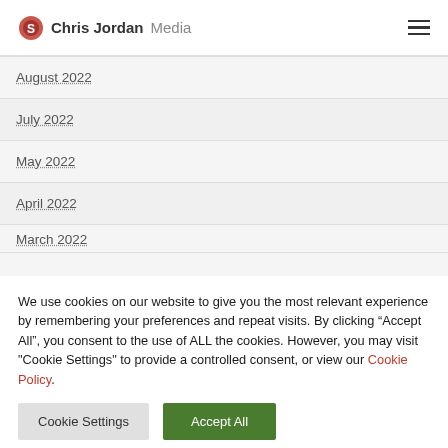Chris Jordan Media
August 2022
July 2022
May 2022
April 2022
March 2022
We use cookies on our website to give you the most relevant experience by remembering your preferences and repeat visits. By clicking “Accept All”, you consent to the use of ALL the cookies. However, you may visit "Cookie Settings" to provide a controlled consent, or view our Cookie Policy.
Cookie Settings | Accept All